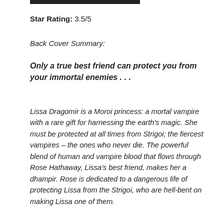[Figure (other): Black horizontal bar at the top of the page]
Star Rating: 3.5/5
Back Cover Summary:
Only a true best friend can protect you from your immortal enemies . . .
Lissa Dragomir is a Moroi princess: a mortal vampire with a rare gift for harnessing the earth's magic. She must be protected at all times from Strigoi; the fiercest vampires – the ones who never die. The powerful blend of human and vampire blood that flows through Rose Hathaway, Lissa's best friend, makes her a dhampir. Rose is dedicated to a dangerous life of protecting Lissa from the Strigoi, who are hell-bent on making Lissa one of them.